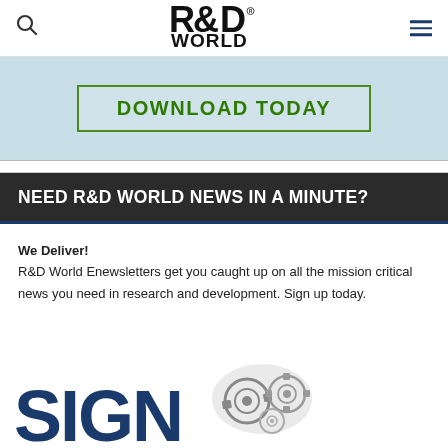R&D World (logo, search icon, menu icon)
[Figure (screenshot): Banner advertisement with light blue background showing a green-bordered 'DOWNLOAD TODAY' button]
NEED R&D WORLD NEWS IN A MINUTE?
We Deliver! R&D World Enewsletters get you caught up on all the mission critical news you need in research and development. Sign up today.
[Figure (illustration): Large bold 'SIGN' text in dark blue on the left, and a mechanical gear-shaped cloud illustration on the right, partially cropped at the bottom of the page]